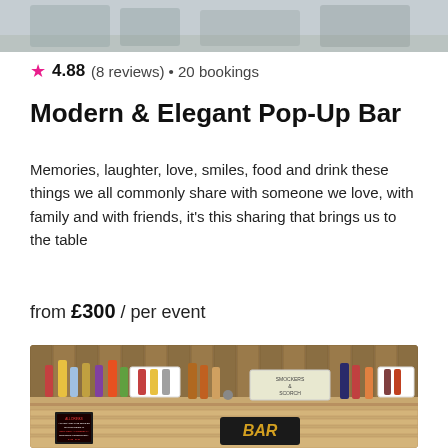[Figure (photo): Top portion of a photo showing a pop-up bar setup, partially cropped]
★ 4.88 (8 reviews) • 20 bookings
Modern & Elegant Pop-Up Bar
Memories, laughter, love, smiles, food and drink these things we all commonly share with someone we love, with family and with friends, it's this sharing that brings us to the table
from £300 / per event
[Figure (photo): Photo of a rustic wooden pallet pop-up bar setup outdoors with various bottles of spirits, a lightbox sign, a BAR sign, and a drinks menu board]